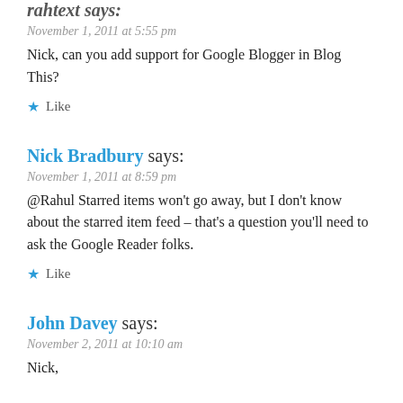rahtext says:
November 1, 2011 at 5:55 pm
Nick, can you add support for Google Blogger in Blog This?
★ Like
Nick Bradbury says:
November 1, 2011 at 8:59 pm
@Rahul Starred items won't go away, but I don't know about the starred item feed – that's a question you'll need to ask the Google Reader folks.
★ Like
John Davey says:
November 2, 2011 at 10:10 am
Nick,